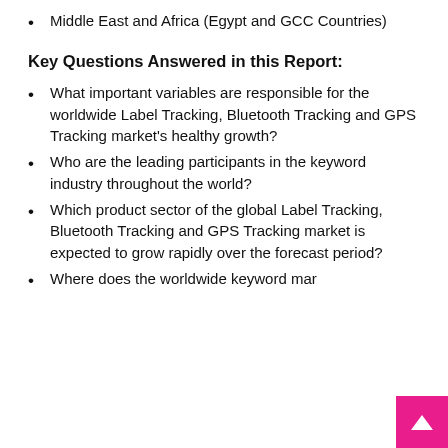Middle East and Africa (Egypt and GCC Countries)
Key Questions Answered in this Report:
What important variables are responsible for the worldwide Label Tracking, Bluetooth Tracking and GPS Tracking market's healthy growth?
Who are the leading participants in the keyword industry throughout the world?
Which product sector of the global Label Tracking, Bluetooth Tracking and GPS Tracking market is expected to grow rapidly over the forecast period?
Where does the worldwide keyword mar…